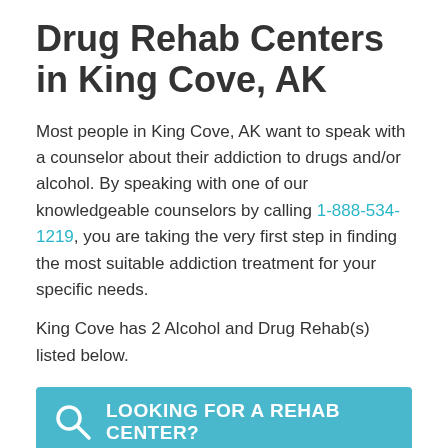Drug Rehab Centers in King Cove, AK
Most people in King Cove, AK want to speak with a counselor about their addiction to drugs and/or alcohol. By speaking with one of our knowledgeable counselors by calling 1-888-534-1219, you are taking the very first step in finding the most suitable addiction treatment for your specific needs.
King Cove has 2 Alcohol and Drug Rehab(s) listed below.
[Figure (infographic): Teal banner with a search/magnifying glass icon and white bold text reading LOOKING FOR A REHAB CENTER?, followed by a photo of call-center counselors wearing headsets]
LOOKING FOR A REHAB CENTER?